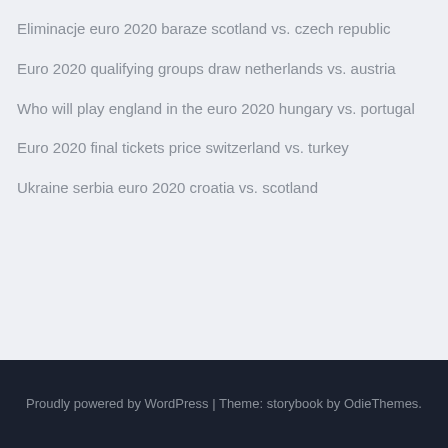Eliminacje euro 2020 baraze scotland vs. czech republic
Euro 2020 qualifying groups draw netherlands vs. austria
Who will play england in the euro 2020 hungary vs. portugal
Euro 2020 final tickets price switzerland vs. turkey
Ukraine serbia euro 2020 croatia vs. scotland
Proudly powered by WordPress | Theme: storybook by OdieThemes.